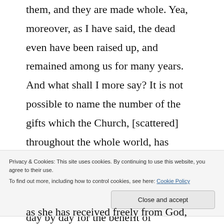them, and they are made whole. Yea, moreover, as I have said, the dead even have been raised up, and remained among us for many years. And what shall I more say? It is not possible to name the number of the gifts which the Church, [scattered] throughout the whole world, has received from God, in the name of Jesus Christ, who was crucified under Pontius Pilate, and which she exerts day by day for the benefit of
Privacy & Cookies: This site uses cookies. By continuing to use this website, you agree to their use. To find out more, including how to control cookies, see here: Cookie Policy
as she has received freely from God, freely also